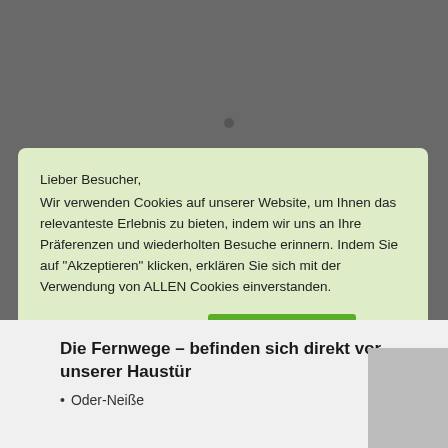Lieber Besucher,
Wir verwenden Cookies auf unserer Website, um Ihnen das relevanteste Erlebnis zu bieten, indem wir uns an Ihre Präferenzen und wiederholten Besuche erinnern. Indem Sie auf "Akzeptieren" klicken, erklären Sie sich mit der Verwendung von ALLEN Cookies einverstanden.
Cookie Einstellungen
AKZEPTIEREN
Die Fernwege – befinden sich direkt vor unserer Haustür
Oder-Neiße